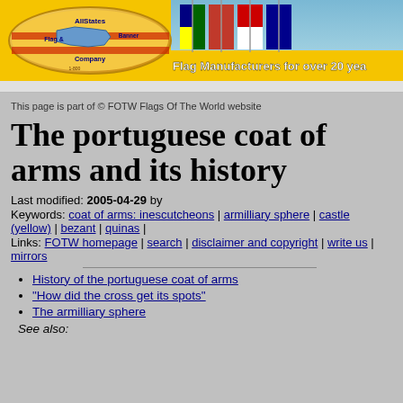[Figure (photo): AllStates Flag & Banner Company advertisement banner with logo oval on left, flags on right, and slogan 'Flag Manufacturers for over 20 yea...']
This page is part of © FOTW Flags Of The World website
The portuguese coat of arms and its history
Last modified: 2005-04-29 by
Keywords: coat of arms: inescutcheons | armilliary sphere | castle (yellow) | bezant | quinas |
Links: FOTW homepage | search | disclaimer and copyright | write us | mirrors
History of the portuguese coat of arms
"How did the cross get its spots"
The armilliary sphere
See also: